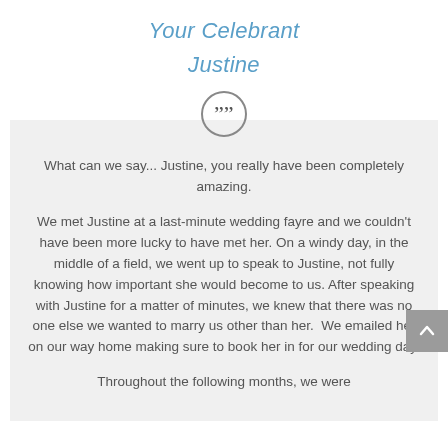Your Celebrant
Justine
What can we say... Justine, you really have been completely amazing.

We met Justine at a last-minute wedding fayre and we couldn't have been more lucky to have met her. On a windy day, in the middle of a field, we went up to speak to Justine, not fully knowing how important she would become to us. After speaking with Justine for a matter of minutes, we knew that there was no one else we wanted to marry us other than her.  We emailed her on our way home making sure to book her in for our wedding day.

Throughout the following months, we were